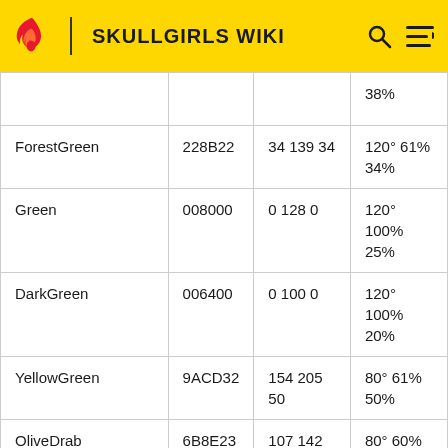SKULLGIRLS WIKI
| Color Name | Hex | RGB | HSL |
| --- | --- | --- | --- |
|  |  |  | 38% |
| ForestGreen | 228B22 | 34 139 34 | 120° 61% 34% |
| Green | 008000 | 0 128 0 | 120° 100% 25% |
| DarkGreen | 006400 | 0 100 0 | 120° 100% 20% |
| YellowGreen | 9ACD32 | 154 205 50 | 80° 61% 50% |
| OliveDrab | 6B8E23 | 107 142 35 | 80° 60% 35% |
| Olive | 808000 | 128 128 0 | 60° 100% 25% |